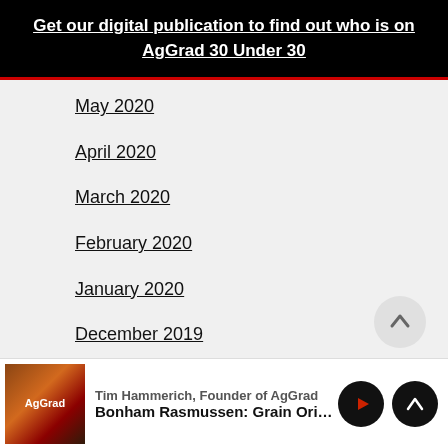Get our digital publication to find out who is on AgGrad 30 Under 30
May 2020
April 2020
March 2020
February 2020
January 2020
December 2019
November 2019
October 2019
Tim Hammerich, Founder of AgGrad | Bonham Rasmussen: Grain Originati…